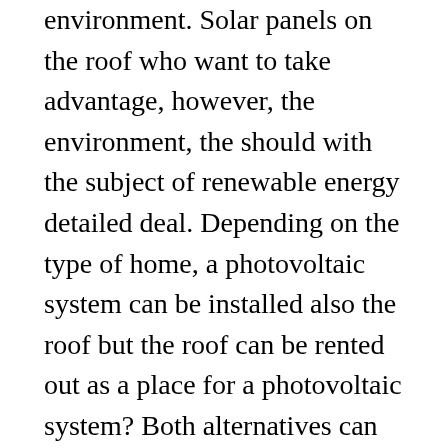environment. Solar panels on the roof who want to take advantage, however, the environment, the should with the subject of renewable energy detailed deal. Depending on the type of home, a photovoltaic system can be installed also the roof but the roof can be rented out as a place for a photovoltaic system? Both alternatives can also bring money. The energy that is produced with an own photovoltaic system can be used both for to cover the energy consumption at home as well, to be fed into the power grid. For this you get an appropriate remuneration as owner. Photovoltaic systems are often still profitable despite funding cuts. Also a solar thermal installation for heating support can help to reduce energy costs. The heating system can be